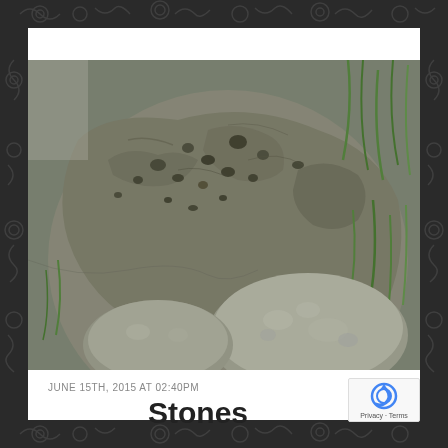[Figure (photo): Close-up photograph of rough porous stones and smooth rounded river rocks with green grass/plants visible in background]
JUNE 15TH, 2015 AT 02:40PM
Stones
[Figure (logo): Google reCAPTCHA badge showing Privacy and Terms links]